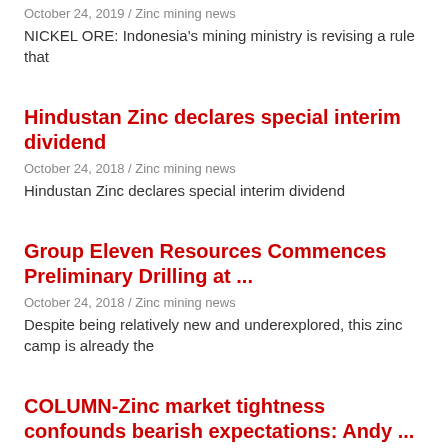October 24, 2019 / Zinc mining news
NICKEL ORE: Indonesia's mining ministry is revising a rule that
Hindustan Zinc declares special interim dividend
October 24, 2018 / Zinc mining news
Hindustan Zinc declares special interim dividend
Group Eleven Resources Commences Preliminary Drilling at ...
October 24, 2018 / Zinc mining news
Despite being relatively new and underexplored, this zinc camp is already the
COLUMN-Zinc market tightness confounds bearish expectations: Andy ...